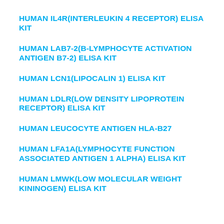HUMAN IL4R(INTERLEUKIN 4 RECEPTOR) ELISA KIT
HUMAN LAB7-2(B-LYMPHOCYTE ACTIVATION ANTIGEN B7-2) ELISA KIT
HUMAN LCN1(LIPOCALIN 1) ELISA KIT
HUMAN LDLR(LOW DENSITY LIPOPROTEIN RECEPTOR) ELISA KIT
HUMAN LEUCOCYTE ANTIGEN HLA-B27
HUMAN LFA1A(LYMPHOCYTE FUNCTION ASSOCIATED ANTIGEN 1 ALPHA) ELISA KIT
HUMAN LMWK(LOW MOLECULAR WEIGHT KININOGEN) ELISA KIT